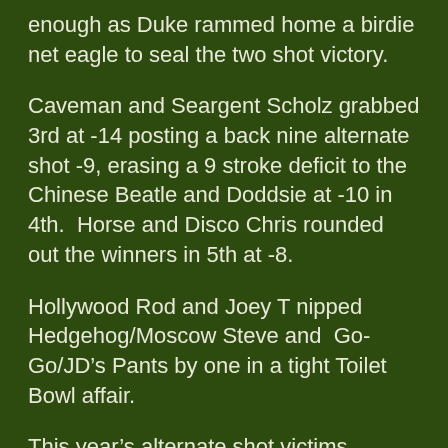enough as Duke rammed home a birdie net eagle to seal the two shot victory.
Caveman and Seargent Scholz grabbed 3rd at -14 posting a back nine alternate shot -9, erasing a 9 stroke deficit to the Chinese Beatle and Doddsie at -10 in 4th.  Horse and Disco Chris rounded out the winners in 5th at -8.
Hollywood Rod and Joey T nipped Hedgehog/Moscow Steve and  Go-Go/JD’s Pants by one in a tight Toilet Bowl affair.
This year’s alternate shot victims